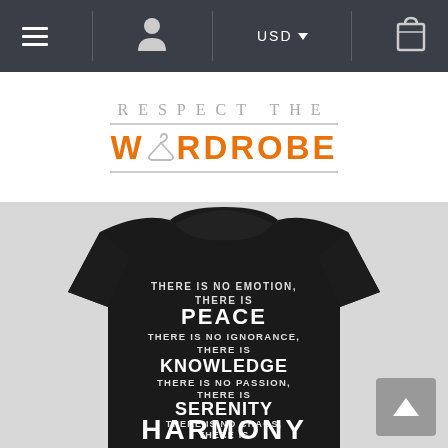Navigation bar with menu, user, USD currency selector, and shopping bag icons
[Figure (logo): Respect The Wardrobe logo with hanger icon, two-tone gray and orange typography]
[Figure (photo): Back view of black t-shirt with Jedi Code text: THERE IS NO EMOTION, THERE IS PEACE / THERE IS NO IGNORANCE, THERE IS KNOWLEDGE / THERE IS NO PASSION, THERE IS SERENITY / THERE IS NO CHAOS, THERE IS HARMONY / THERE IS NO DEATH, [THERE IS THE FORCE implied]]